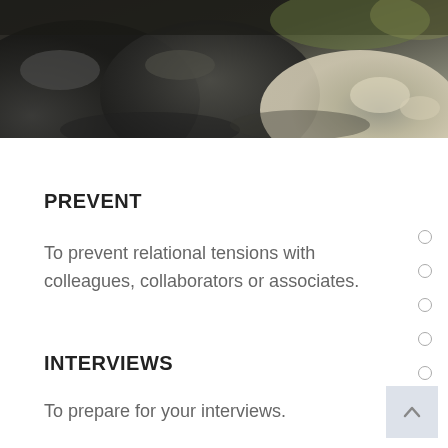[Figure (photo): Top portion of page showing large dark rocks/boulders with some lighter colored rocks and foliage visible]
PREVENT
To prevent relational tensions with colleagues, collaborators or associates.
INTERVIEWS
To prepare for your interviews.